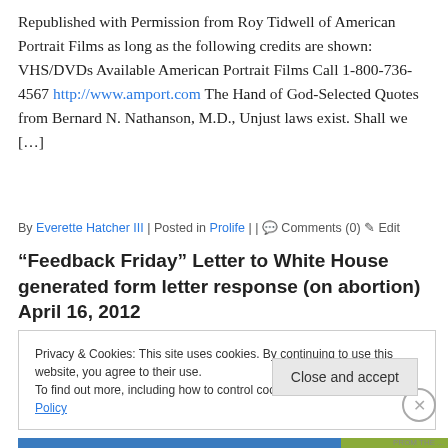Republished with Permission from Roy Tidwell of American Portrait Films as long as the following credits are shown: VHS/DVDs Available American Portrait Films Call 1-800-736-4567 http://www.amport.com The Hand of God-Selected Quotes from Bernard N. Nathanson, M.D., Unjust laws exist. Shall we […]
By Everette Hatcher III | Posted in Prolife | | Comments (0) Edit
“Feedback Friday” Letter to White House generated form letter response (on abortion) April 16, 2012
Privacy & Cookies: This site uses cookies. By continuing to use this website, you agree to their use.
To find out more, including how to control cookies, see here: Cookie Policy